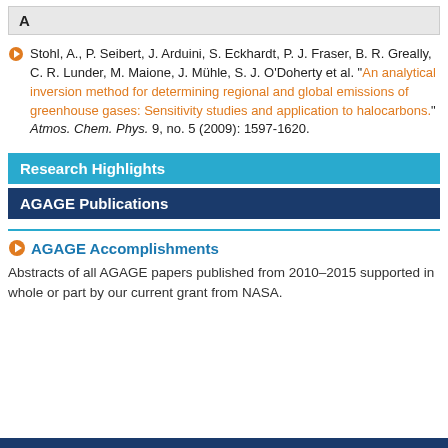A
Stohl, A., P. Seibert, J. Arduini, S. Eckhardt, P. J. Fraser, B. R. Greally, C. R. Lunder, M. Maione, J. Mühle, S. J. O'Doherty et al. "An analytical inversion method for determining regional and global emissions of greenhouse gases: Sensitivity studies and application to halocarbons." Atmos. Chem. Phys. 9, no. 5 (2009): 1597-1620.
Research Highlights
AGAGE Publications
AGAGE Accomplishments
Abstracts of all AGAGE papers published from 2010–2015 supported in whole or part by our current grant from NASA.